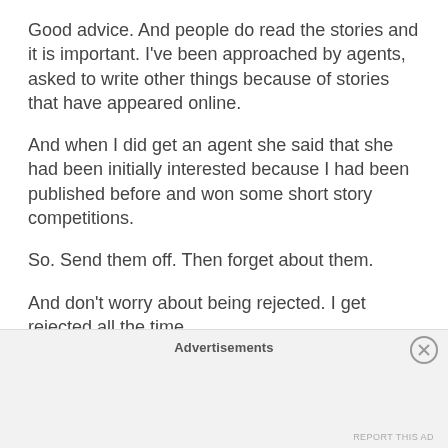Good advice. And people do read the stories and it is important. I've been approached by agents, asked to write other things because of stories that have appeared online.
And when I did get an agent she said that she had been initially interested because I had been published before and won some short story competitions.
So. Send them off. Then forget about them.
And don't worry about being rejected. I get rejected all the time.
HOW VERY RARE THEY
Advertisements
REPORT THIS AD